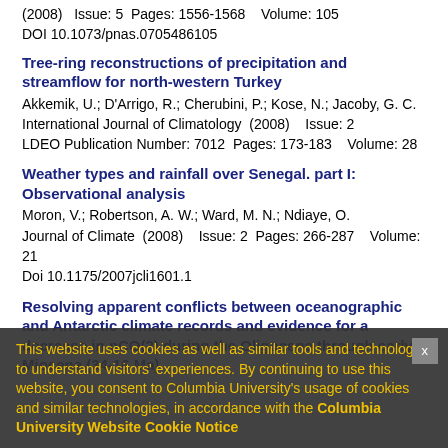(2008)   Issue: 5  Pages: 1556-1568    Volume: 105
DOI 10.1073/pnas.0705486105
Tree-ring reconstructions of precipitation and streamflow for north-western Turkey
Akkemik, U.; D'Arrigo, R.; Cherubini, P.; Kose, N.; Jacoby, G. C.
International Journal of Climatology  (2008)    Issue: 2
LDEO Publication Number: 7012  Pages: 173-183    Volume: 28
Weather types and rainfall over Senegal. part I: Observational analysis
Moron, V.; Robertson, A. W.; Ward, M. N.; Ndiaye, O.
Journal of Climate  (2008)    Issue: 2  Pages: 266-287    Volume: 21
Doi 10.1175/2007jcli1601.1
Resolving apparent conflicts between oceanographic and Antarctic climate records and evidence for a decrease in pCO(2) during the Oligocene through early Miocene (34-16 Ma)
This website uses cookies as well as similar tools and technologies to understand visitors' experiences. By continuing to use this website, you consent to Columbia University's usage of cookies and similar technologies, in accordance with the Columbia University Website Cookie Notice
Causes and impacts of the 2005 Amazon drought